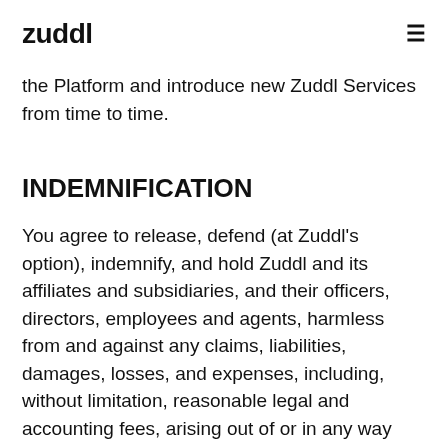zuddl
the Platform and introduce new Zuddl Services from time to time.
INDEMNIFICATION
You agree to release, defend (at Zuddl's option), indemnify, and hold Zuddl and its affiliates and subsidiaries, and their officers, directors, employees and agents, harmless from and against any claims, liabilities, damages, losses, and expenses, including, without limitation, reasonable legal and accounting fees, arising out of or in any way connected with (i)